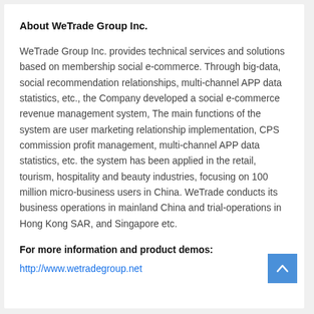About WeTrade Group Inc.
WeTrade Group Inc. provides technical services and solutions based on membership social e-commerce. Through big-data, social recommendation relationships, multi-channel APP data statistics, etc., the Company developed a social e-commerce revenue management system, The main functions of the system are user marketing relationship implementation, CPS commission profit management, multi-channel APP data statistics, etc. the system has been applied in the retail, tourism, hospitality and beauty industries, focusing on 100 million micro-business users in China. WeTrade conducts its business operations in mainland China and trial-operations in Hong Kong SAR, and Singapore etc.
For more information and product demos:
http://www.wetradegroup.net